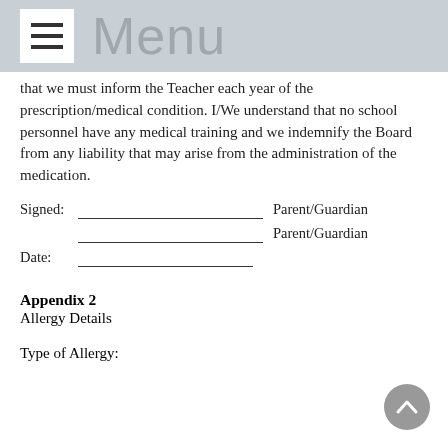Menu
that we must inform the Teacher each year of the prescription/medical condition. I/We understand that no school personnel have any medical training and we indemnify the Board from any liability that may arise from the administration of the medication.
Signed: _________________________ Parent/Guardian
_________________________ Parent/Guardian
Date: _______________________
Appendix 2
Allergy Details
Type of Allergy: